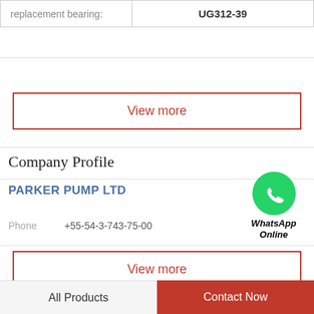|  |  |
| --- | --- |
| replacement bearing: | UG312-39 |
View more
Company Profile
PARKER PUMP LTD
[Figure (logo): WhatsApp green circle icon with phone handset, labeled WhatsApp Online in bold italic]
Phone   +55-54-3-743-75-00
View more
Related News
All Products
Contact Now